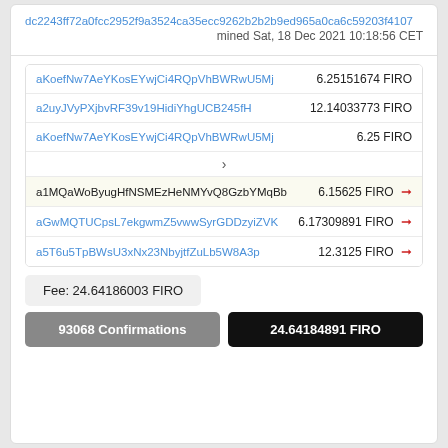dc2243ff72a0fcc2952f9a3524ca35ecc9262b2b2b9ed965a0ca6c59203f4107
mined Sat, 18 Dec 2021 10:18:56 CET
| Address | Amount |
| --- | --- |
| aKoefNw7AeYKosEYwjCi4RQpVhBWRwU5Mj | 6.25151674 FIRO |
| a2uyJVyPXjbvRF39v19HidiYhgUCB245fH | 12.14033773 FIRO |
| aKoefNw7AeYKosEYwjCi4RQpVhBWRwU5Mj | 6.25 FIRO |
| > |  |
| a1MQaWoByugHfNSMEzHeNMYvQ8GzbYMqBb | 6.15625 FIRO |
| aGwMQTUCpsL7ekgwmZ5vwwSyrGDDzyiZVK | 6.17309891 FIRO |
| a5T6u5TpBWsU3xNx23NbyjtfZuLb5W8A3p | 12.3125 FIRO |
Fee: 24.64186003 FIRO
93068 Confirmations
24.64184891 FIRO